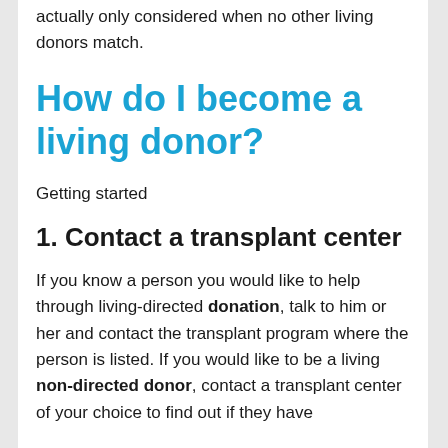actually only considered when no other living donors match.
How do I become a living donor?
Getting started
1. Contact a transplant center
If you know a person you would like to help through living-directed donation, talk to him or her and contact the transplant program where the person is listed. If you would like to be a living non-directed donor, contact a transplant center of your choice to find out if they have